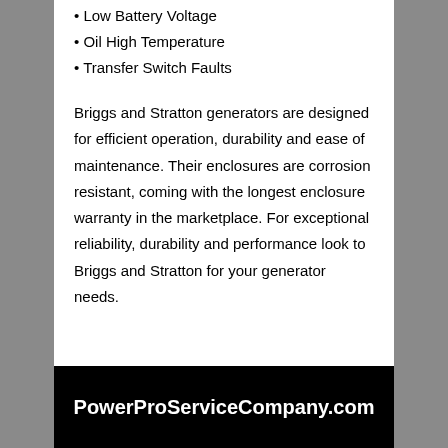• Low Battery Voltage
• Oil High Temperature
• Transfer Switch Faults
Briggs and Stratton generators are designed for efficient operation, durability and ease of maintenance. Their enclosures are corrosion resistant, coming with the longest enclosure warranty in the marketplace. For exceptional reliability, durability and performance look to Briggs and Stratton for your generator needs.
PowerProServiceCompany.com